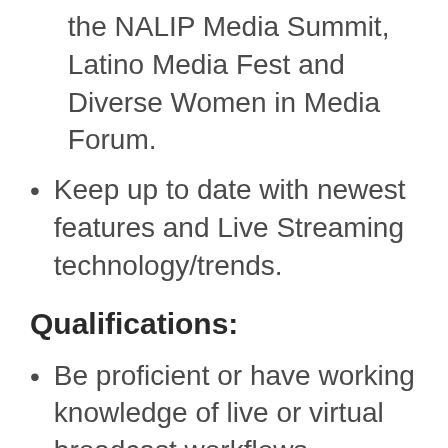the NALIP Media Summit, Latino Media Fest and Diverse Women in Media Forum.
Keep up to date with newest features and Live Streaming technology/trends.
Qualifications:
Be proficient or have working knowledge of live or virtual broadcast workflows.
Ability to react intuitively and quickly to any circumstances that may arise in live events.